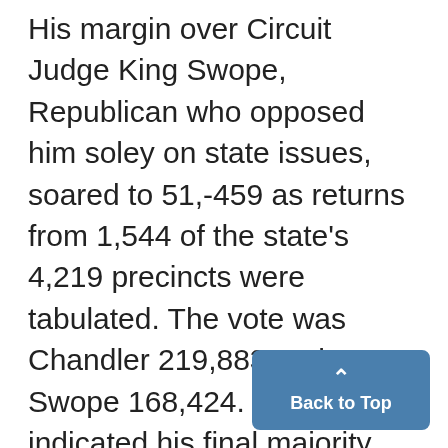His margin over Circuit Judge King Swope, Republican who opposed him soley on state issues, soared to 51,-459 as returns from 1,544 of the state's 4,219 precincts were tabulated. The vote was Chandler 219,883 and Swope 168,424. The trend indicated his final majority would be well over 100,000, a record for a gubernatorial race since reconstruction days. Chandler, who urged a Democratic victory to "assure the reelection of President Roosevelt" in 1936, w inaugurated at Frankfort next